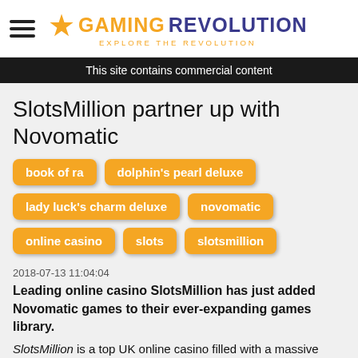GAMING REVOLUTION - Explore the Revolution
This site contains commercial content
SlotsMillion partner up with Novomatic
book of ra
dolphin's pearl deluxe
lady luck's charm deluxe
novomatic
online casino
slots
slotsmillion
2018-07-13 11:04:04
Leading online casino SlotsMillion has just added Novomatic games to their ever-expanding games library.
SlotsMillion is a top UK online casino filled with a massive collection of games as well as a superb welcome bonus offer consisting of a fabulous 100% Welcome Bonus up to